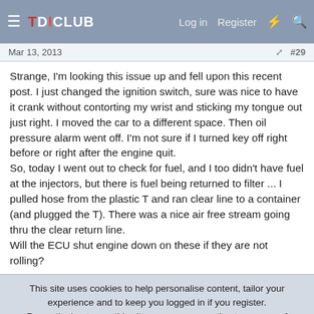TDICLUB  Log in  Register
Mar 13, 2013  #29
Strange, I'm looking this issue up and fell upon this recent post. I just changed the ignition switch, sure was nice to have it crank without contorting my wrist and sticking my tongue out just right. I moved the car to a different space. Then oil pressure alarm went off. I'm not sure if I turned key off right before or right after the engine quit.
So, today I went out to check for fuel, and I too didn't have fuel at the injectors, but there is fuel being returned to filter ... I pulled hose from the plastic T and ran clear line to a container (and plugged the T). There was a nice air free stream going thru the clear return line.
Will the ECU shut engine down on these if they are not rolling?
This site uses cookies to help personalise content, tailor your experience and to keep you logged in if you register.
By continuing to use this site, you are consenting to our use of cookies.